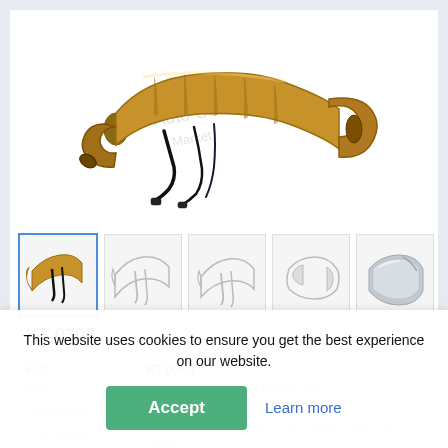[Figure (photo): Main product photo of KT 0303 catalytic converter / exhaust component with wiring harness, bronze/metallic finish, shown on white background with watermark 'Auto Catalyst Market']
[Figure (photo): Thumbnail strip showing 5 views of the KT 0303 part: (1) color photo selected, (2-5) line-drawing/sketch views from various angles]
KT 0303
Ref:    KT 0303
Ref:    A2124900100 / A4114900136
Car brands:    Mercedes-Benz
Car models:    E-B... S-Benz E-Class 3, Mercedes-Benz E-Class
This website uses cookies to ensure you get the best experience on our website.
Accept
Learn more